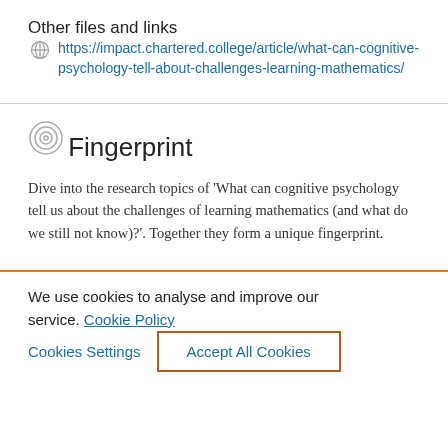Other files and links
https://impact.chartered.college/article/what-can-cognitive-psychology-tell-about-challenges-learning-mathematics/
Fingerprint
Dive into the research topics of 'What can cognitive psychology tell us about the challenges of learning mathematics (and what do we still not know)?'. Together they form a unique fingerprint.
We use cookies to analyse and improve our service. Cookie Policy
Cookies Settings
Accept All Cookies